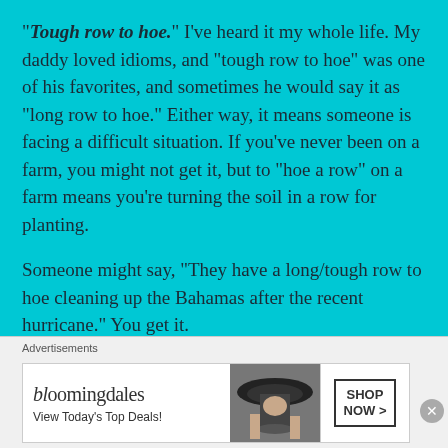“Tough row to hoe.” I’ve heard it my whole life. My daddy loved idioms, and “tough row to hoe” was one of his favorites, and sometimes he would say it as “long row to hoe.” Either way, it means someone is facing a difficult situation. If you’ve never been on a farm, you might not get it, but to “hoe a row” on a farm means you’re turning the soil in a row for planting.
Someone might say, “They have a long/tough row to hoe cleaning up the Bahamas after the recent hurricane.” You get it.
I thought of that just now, because I’m watching a
Advertisements
[Figure (other): Bloomingdale's advertisement banner with logo, tagline 'View Today's Top Deals!', woman wearing a large brim hat, and a 'SHOP NOW >' button.]